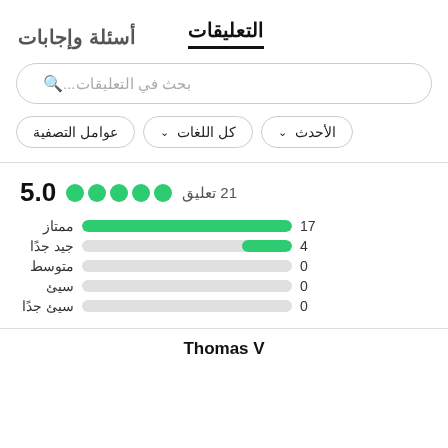التعليقات   أسئلة وإجابات
بحث في التعليقات...
عوامل التصفية   كل اللغات ∨   الأحدث ∨
5.0  ●●●●●  21 تعليق
| التصنيف | العدد | الشريط |
| --- | --- | --- |
| ممتاز | 17 | bar-large |
| جيد جدًا | 4 | bar-small |
| متوسط | 0 |  |
| سيئ | 0 |  |
| سيئ جدًا | 0 |  |
Thomas V